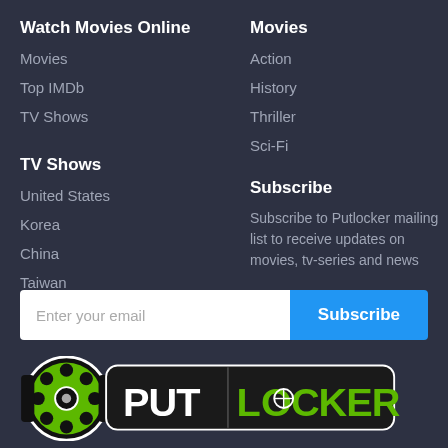Watch Movies Online
Movies
Top IMDb
TV Shows
TV Shows
United States
Korea
China
Taiwan
Movies
Action
History
Thriller
Sci-Fi
Subscribe
Subscribe to Putlocker mailing list to receive updates on movies, tv-series and news
[Figure (logo): Putlocker logo with film reel icon and brand name in green and white on dark background]